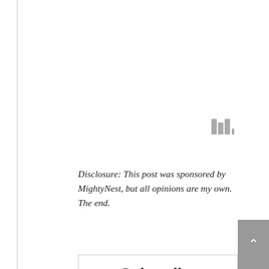[Figure (logo): Small logo with three vertical bars of different heights and a superscript degree symbol, in gray]
Disclosure: This post was sponsored by MightyNest, but all opinions are my own.  The end.
Subscribe
Join more than 35,000 subscribers and start gettiing free recipes direct to your inbox!
First Name
Enter your name
Last Name
Enter your last name